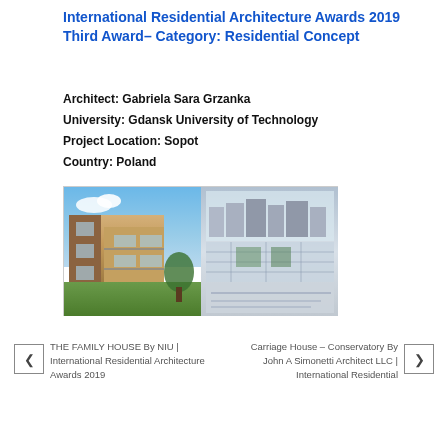International Residential Architecture Awards 2019 Third Award– Category: Residential Concept
Architect: Gabriela Sara Grzanka
University: Gdansk University of Technology
Project Location: Sopot
Country: Poland
[Figure (photo): Two side-by-side images of a residential architecture project. Left image shows a modern multi-story residential building exterior with wood and glass facade, green lawn in front, under a blue sky. Right image shows an architectural plan/elevation composite with building sections and site plan overlays.]
THE FAMILY HOUSE By NIU | International Residential Architecture Awards 2019
Carriage House – Conservatory By John A Simonetti Architect LLC | International Residential